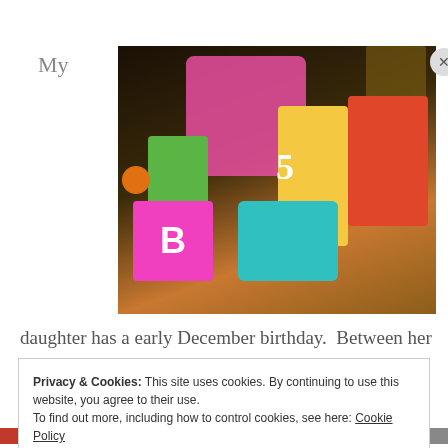My
[Figure (photo): Photo of birthday gifts for a girl including Disney Princess Cupcake Party game, Barbie, Play-Doh, Rapunzel doll, Tinker Bell items, teal sandals, and other toys spread out on a wooden table.]
daughter has a early December birthday.  Between her
Privacy & Cookies: This site uses cookies. By continuing to use this website, you agree to their use.
To find out more, including how to control cookies, see here: Cookie Policy
Close and accept